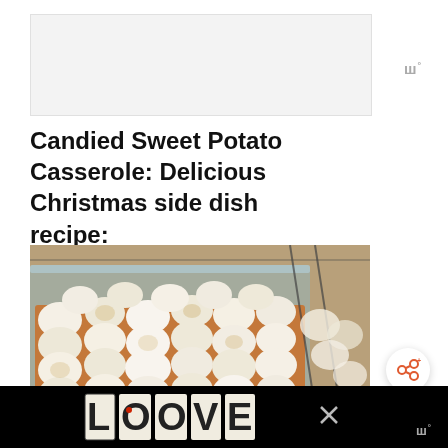[Figure (other): Gray/white advertisement placeholder box]
Candied Sweet Potato Casserole: Delicious Christmas side dish recipe:
[Figure (photo): Photo of a sweet potato casserole topped with toasted marshmallows in a glass baking dish, with a red ribbon visible on the side, set on a wooden surface]
[Figure (logo): LOOVE decorative logo text in black and white ornate lettering with a red heart accent, displayed on a black bar at the bottom of the page]